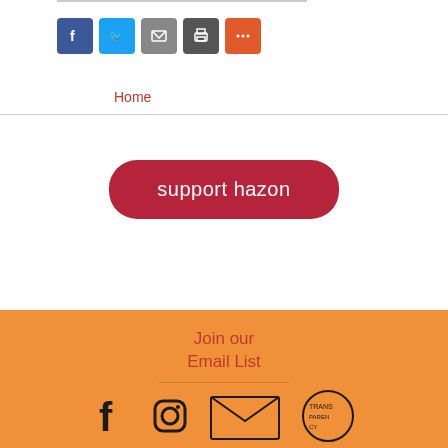[Figure (infographic): Social sharing buttons: Facebook (blue), Twitter (light blue), Email (gray), Print (dark gray), More (orange-red)]
Home
support hazon
Join our Email List
[Figure (infographic): Footer social icons: Facebook, Instagram, and two badge/seal images (partially visible)]